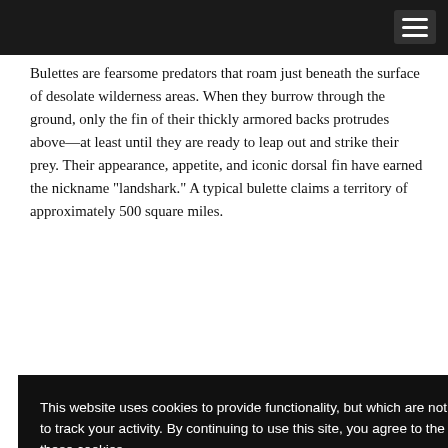[Navigation bar with hamburger menu]
Bulettes are fearsome predators that roam just beneath the surface of desolate wilderness areas. When they burrow through the ground, only the fin of their thickly armored backs protrudes above—at least until they are ready to leap out and strike their prey. Their appearance, appetite, and iconic dorsal fin have earned the nickname “landshark.” A typical bulette claims a territory of approximately 500 square miles.
[partial text visible to right of cookie overlay] ...a farming village, ...Over the course ...ents off the map. ...that battle ...rritory. They ...r members of
[partial text visible to right of cookie overlay continued] ...fe—a mated pair ...n to the ...their young for a ...ct the young
[Figure (screenshot): Cookie consent overlay on a dark background. Text reads: 'This website uses cookies to provide functionality, but which are not used to track your activity. By continuing to use this site, you agree to the use of these cookies. However, in addition to this, you may opt into your activity being tracked in order to help us improve our service. For more information, please click here' with OK and No, thank you buttons.]